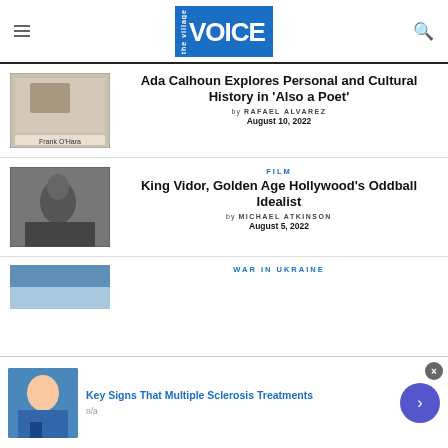the village VOICE
[Figure (photo): Vintage newspaper clipping with photo, 'Frank O'Hara' caption visible]
Ada Calhoun Explores Personal and Cultural History in ‘Also a Poet’
by RAFAEL ALVAREZ
August 10, 2022
[Figure (photo): Black and white film still, woman embracing someone in interior scene]
FILM
King Vidor, Golden Age Hollywood’s Oddball Idealist
by MICHAEL ATKINSON
August 5, 2022
[Figure (photo): Partial thumbnail of outdoor sky scene]
WAR IN UKRAINE
[Figure (photo): Ad banner: person in teal/blue clothing, ad for Multiple Sclerosis Treatments]
Key Signs That Multiple Sclerosis Treatments
n/a